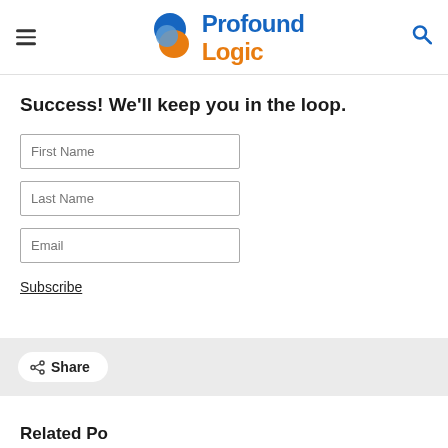[Figure (logo): Profound Logic logo with blue and orange overlapping circles and the text 'Profound Logic' in blue and orange]
Success! We'll keep you in the loop.
First Name
Last Name
Email
Subscribe
Share